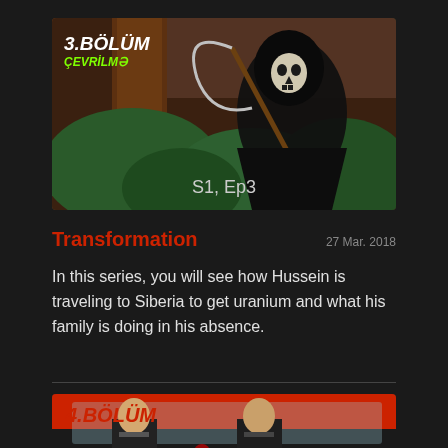[Figure (illustration): Thumbnail image for episode 3 showing a grim reaper figure in a dark robe holding a scythe, standing among trees. Text overlay reads '3.BÖLÜM ÇEVRİLMƏ' in top-left and 'S1, Ep3' at bottom center.]
Transformation
27 Mar. 2018
In this series, you will see how Hussein is traveling to Siberia to get uranium and what his family is doing in his absence.
[Figure (illustration): Thumbnail image for episode 4 showing two suited men inside a red car. Text overlay reads '4.BÖLÜM' in red italic bold text at top-left.]